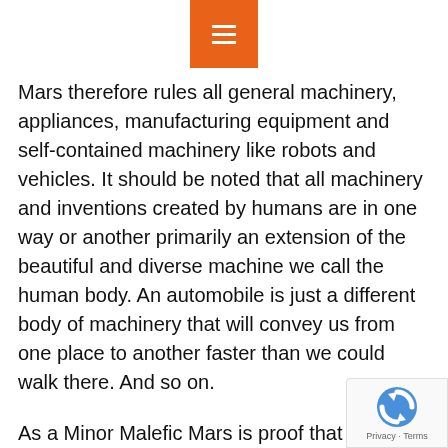[Figure (other): Orange hamburger menu button icon centered at top of page]
Mars therefore rules all general machinery, appliances, manufacturing equipment and self-contained machinery like robots and vehicles. It should be noted that all machinery and inventions created by humans are in one way or another primarily an extension of the beautiful and diverse machine we call the human body. An automobile is just a different body of machinery that will convey us from one place to another faster than we could walk there. And so on.
As a Minor Malefic Mars is proof that a little trouble and conflict, pain or irritation can be part of the process of growth. Mars is often involved when bones or structures are broken or break down and that includes relationships. Some relationship conflicts are opportunities to reset agreements and boundaries so that both parties can continue on happier. In other words, the conflict and pain is